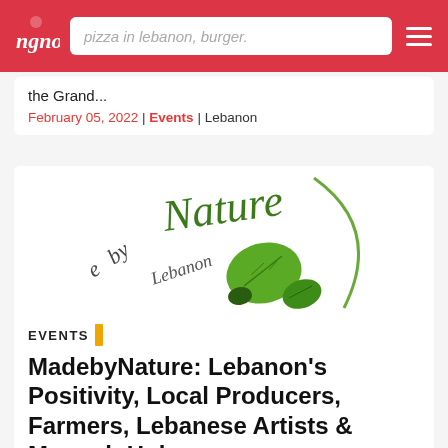ngno — pizza in lebanon, burger.
the Grand...
February 05, 2022 | Events | Lebanon
[Figure (logo): MadebyNature Lebanon logo with green handwritten text and oak leaf illustration]
EVENTS
MadebyNature: Lebanon's Positivity, Local Producers, Farmers, Lebanese Artists & Mouneh Hub
MadebyNature: Lebanon's Positivity, Local Producers, Farmers, Lebanese Artists & Mouneh Hub